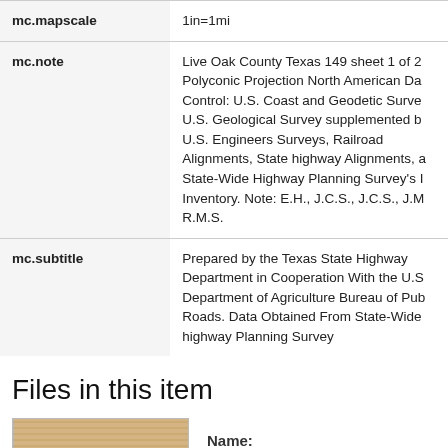| Field | Value |
| --- | --- |
| mc.mapscale | 1in=1mi |
| mc.note | Live Oak County Texas 149 sheet 1 of 2 Polyconic Projection North American Da Control: U.S. Coast and Geodetic Surve U.S. Geological Survey supplemented b U.S. Engineers Surveys, Railroad Alignments, State highway Alignments, a State-Wide Highway Planning Survey's I Inventory. Note: E.H., J.C.S., J.C.S., J.M R.M.S. |
| mc.subtitle | Prepared by the Texas State Highway Department in Cooperation With the U.S Department of Agriculture Bureau of Pub Roads. Data Obtained From State-Wide highway Planning Survey |
Files in this item
Name: